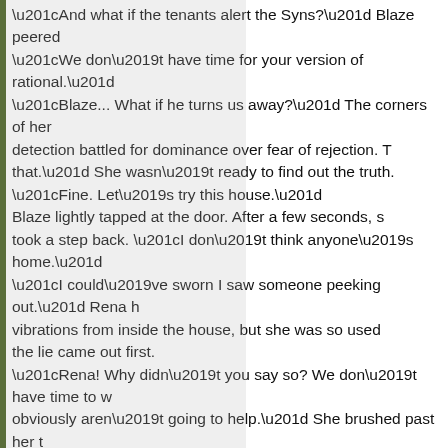“And what if the tenants alert the Syns?” Blaze peered… “We don’t have time for your version of rational.” “Blaze… What if he turns us away?” The corners of her… detection battled for dominance over fear of rejection. … that.” She wasn’t ready to find out the truth. “Fine. Let’s try this house.” Blaze lightly tapped at the door. After a few seconds, s… took a step back. “I don’t think anyone’s home.” “I could’ve sworn I saw someone peeking out.” Rena h… vibrations from inside the house, but she was so used… the lie came out first. “Rena! Why didn’t you say so? We don’t have time to w… obviously aren’t going to help.” She brushed past her t… The Syns neared. One stopped to identify a pedestrian… The other angled toward the girls. Blaze stood on the front porch, jabbed her finger down… mouthed the words, “Get. Over. Here. Now!” She shuffled across the lawn to postpone the inevitable… the porch, Blaze shoved her forward, then reached arc… “But, what if his parents—” she started to say, but stop…